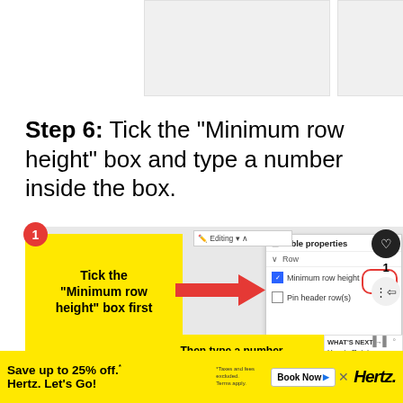[Figure (screenshot): Two rectangular placeholder boxes at the top of the page showing partial screenshot content]
Step 6: Tick the “Minimum row height” box and type a number inside the box.
[Figure (screenshot): Screenshot of a document editor showing Table properties panel with 'Minimum row height' checkbox ticked (circled in red), a yellow callout box on the left saying 'Tick the "Minimum row height" box first' with a red arrow pointing to it, and a yellow callout at the bottom saying 'Then type a number inside the box to set the']
[Figure (screenshot): What's Next panel showing 'How to Rotate Images in...']
Save up to 25% off.* Hertz. Let’s Go! *Taxes and fees excluded. Terms apply.
[Figure (screenshot): Hertz advertisement banner with Book Now button]